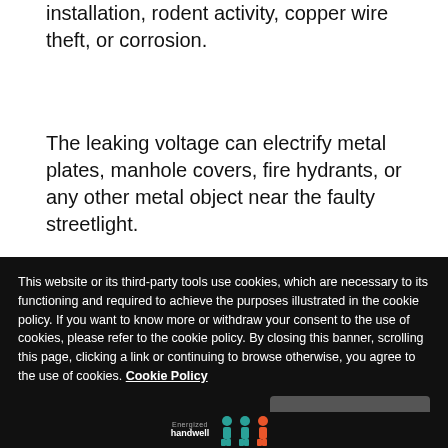installation, rodent activity, copper wire theft, or corrosion.
The leaking voltage can electrify metal plates, manhole covers, fire hydrants, or any other metal object near the faulty streetlight.
[Figure (illustration): Illustration of a streetlight with an orange/yellow curved pole and lamp head]
This website or its third-party tools use cookies, which are necessary to its functioning and required to achieve the purposes illustrated in the cookie policy. If you want to know more or withdraw your consent to the use of cookies, please refer to the cookie policy. By closing this banner, scrolling this page, clicking a link or continuing to browse otherwise, you agree to the use of cookies. Cookie Policy
Close and accept
[Figure (logo): Bottom strip with energized handwell logo and human figure icons in teal and orange]